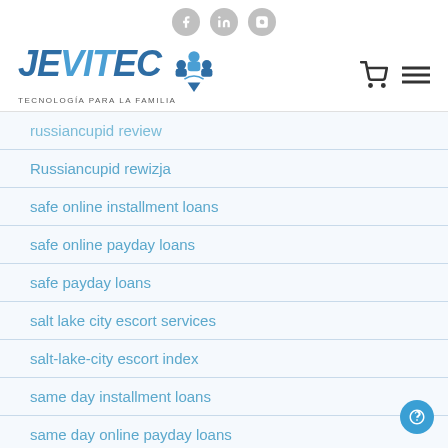Social icons: Facebook, LinkedIn, Instagram
[Figure (logo): JEVITEC logo with tagline TECNOLOGÍA PARA LA FAMILIA and navigation icons (cart, menu)]
russiancupid review
Russiancupid rewizja
safe online installment loans
safe online payday loans
safe payday loans
salt lake city escort services
salt-lake-city escort index
same day installment loans
same day online payday loans